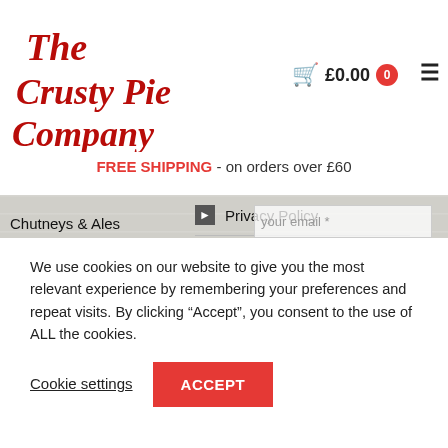[Figure (logo): The Crusty Pie Company logo in red italic script font]
£0.00  0
FREE SHIPPING - on orders over £60
Chutneys & Ales
Indian Snacks
Scratchings
Gift Vouchers
Privacy Policy
Our Story
News and Events
your email *
Subscribe!
We use cookies on our website to give you the most relevant experience by remembering your preferences and repeat visits. By clicking “Accept”, you consent to the use of ALL the cookies.
Cookie settings
ACCEPT